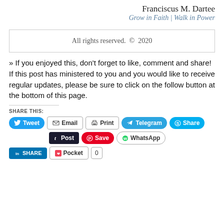Franciscus M. Dartee
Grow in Faith | Walk in Power
All rights reserved. © 2020
» If you enjoyed this, don't forget to like, comment and share! If this post has ministered to you and you would like to receive regular updates, please be sure to click on the follow button at the bottom of this page.
SHARE THIS: